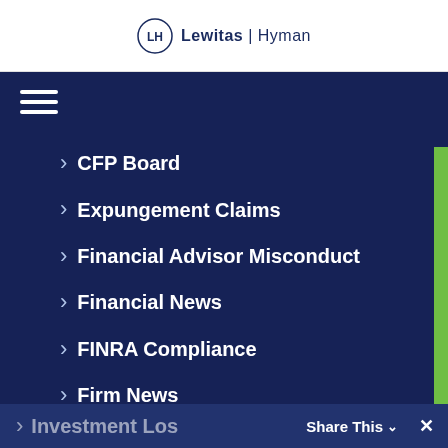[Figure (logo): Lewitas Hyman law firm logo with LH monogram in circle]
CFP Board
Expungement Claims
Financial Advisor Misconduct
Financial News
FINRA Compliance
Firm News
Firm Transition
Insider Trading
Investment Los...
Share This